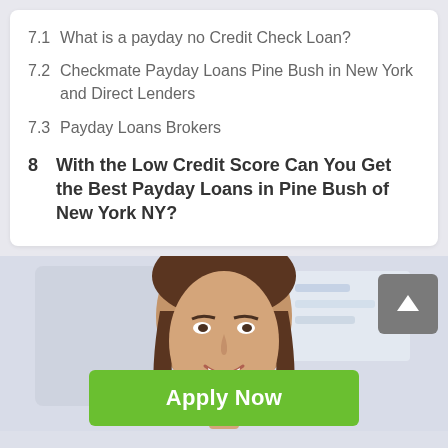7.1  What is a payday no Credit Check Loan?
7.2  Checkmate Payday Loans Pine Bush in New York and Direct Lenders
7.3  Payday Loans Brokers
8  With the Low Credit Score Can You Get the Best Payday Loans in Pine Bush of New York NY?
[Figure (photo): Smiling woman with brown hair, shown from shoulders up, with a green Apply Now button overlay and text below]
Applying does NOT affect your credit score! No credit check to apply.